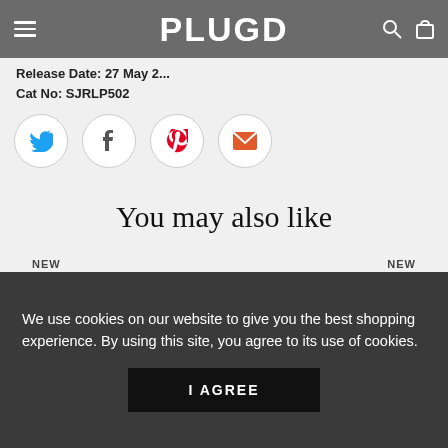PLUGD
Release Date: 27 May 2...
Cat No: SJRLP502
[Figure (other): Social share icons: Twitter, Facebook, Pinterest, Email]
You may also like
NEW    NEW
We use cookies on our website to give you the best shopping experience. By using this site, you agree to its use of cookies.